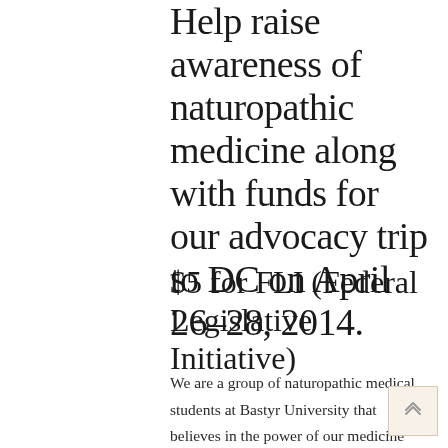Help raise awareness of naturopathic medicine along with funds for our advocacy trip to DC on April 26-28, 2014.
$5 for FLI (Federal Legislative Initiative)
We are a group of naturopathic medical students at Bastyr University that believes in the power of our medicine and are committed to extending its reach throughout the United States. At the end of April we fly from Seattle, Washington to Washington, DC to participate in DC FLI (Federal Legislative Initiative) become of the...